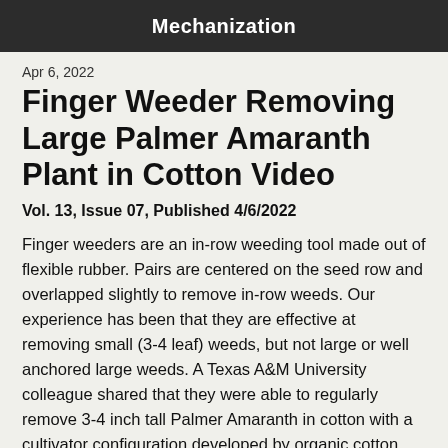Mechanization
Apr 6, 2022
Finger Weeder Removing Large Palmer Amaranth Plant in Cotton Video
Vol. 13, Issue 07, Published 4/6/2022
Finger weeders are an in-row weeding tool made out of flexible rubber. Pairs are centered on the seed row and overlapped slightly to remove in-row weeds. Our experience has been that they are effective at removing small (3-4 leaf) weeds, but not large or well anchored large weeds. A Texas A&M University colleague shared that they were able to regularly remove 3-4 inch tall Palmer Amaranth in cotton with a cultivator configuration developed by organic cotton grower Carl Pepper. I was pretty impressed. I think you will be too. Check it out by